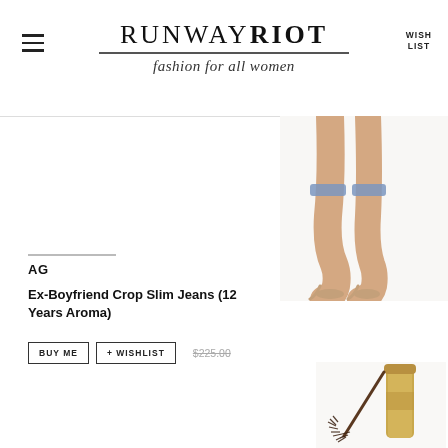RUNWAY RIOT — fashion for all women — WISH LIST
[Figure (photo): Legs of a woman wearing cropped jeans and nude pointed-toe high heels, on white background]
AG
Ex-Boyfriend Crop Slim Jeans (12 Years Aroma)
BUY ME  + WISHLIST  $225.00
[Figure (photo): Gold-cased mascara with applicator wand, on white background]